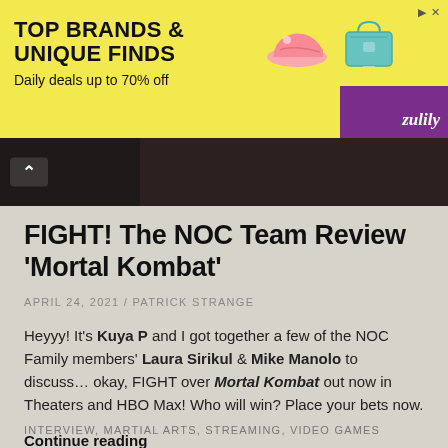[Figure (screenshot): Advertisement banner with yellow background. Bold text reads 'TOP BRANDS & UNIQUE FINDS' and 'Daily deals up to 70% off'. Right side shows a purple Zulily logo area with images of a shoe and a teal handbag.]
[Figure (photo): Dark photo strip showing partial image, with a white chevron/up-arrow on the left side.]
FIGHT! The NOC Team Review 'Mortal Kombat'
APRIL 24, 2021 / PATRICK STRANGE
Heyyy! It's Kuya P and I got together a few of the NOC Family members' Laura Sirikul & Mike Manolo to discuss… okay, FIGHT over Mortal Kombat out now in Theaters and HBO Max! Who will win? Place your bets now.
Continue reading
INTERVIEW, MARTIAL ARTS, STREAMING, VIDEO GAMES